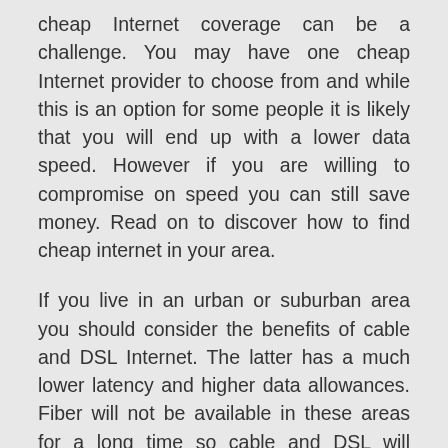cheap Internet coverage can be a challenge. You may have one cheap Internet provider to choose from and while this is an option for some people it is likely that you will end up with a lower data speed. However if you are willing to compromise on speed you can still save money. Read on to discover how to find cheap internet in your area.
If you live in an urban or suburban area you should consider the benefits of cable and DSL Internet. The latter has a much lower latency and higher data allowances. Fiber will not be available in these areas for a long time so cable and DSL will probably be your only options. If you live in a rural area consider satellite internet. This type of internet is available in many locations and may be the best option for you.
What are download and upload speeds?